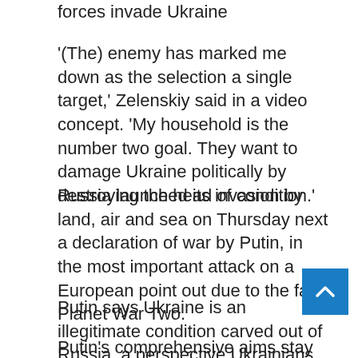forces invade Ukraine
'(The) enemy has marked me down as the selection a single target,' Zelenskiy said in a video concept. 'My household is the number two goal. They want to damage Ukraine politically by destroying the head of condition.'
Russia launched its invasion by land, air and sea on Thursday next a declaration of war by Putin, in the most important attack on a European point out due to the fact Planet War Two.
Putin says Ukraine is an illegitimate condition carved out of Russia, a perspective Ukrainians see as aimed at erasing their much more than thousand-12 months historical past.
Putin's comprehensive aims stay obscure. He